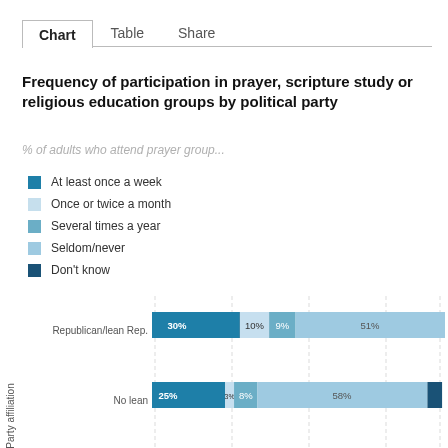Chart | Table | Share
Frequency of participation in prayer, scripture study or religious education groups by political party
% of adults who attend prayer group...
At least once a week
Once or twice a month
Several times a year
Seldom/never
Don't know
[Figure (stacked-bar-chart): Frequency of participation in prayer, scripture study or religious education groups by political party]